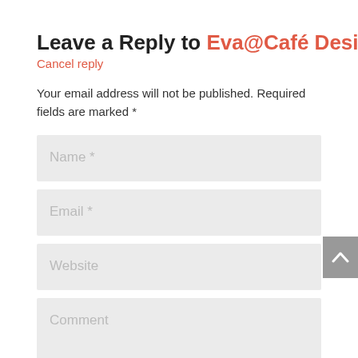Leave a Reply to Eva@Café Design
Cancel reply
Your email address will not be published. Required fields are marked *
[Figure (screenshot): Web comment form with four input fields: Name *, Email *, Website, and Comment placeholder fields rendered as light gray boxes. A gray scroll-to-top button with an upward caret is visible at the right edge near the Website field.]